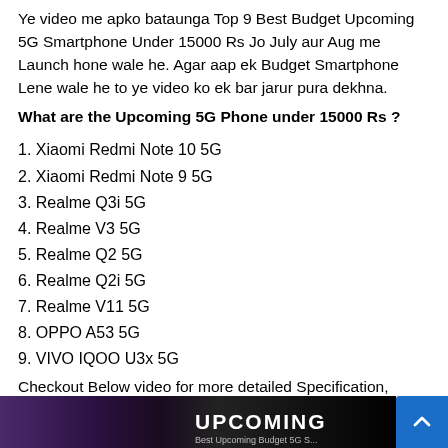Ye video me apko bataunga Top 9 Best Budget Upcoming 5G Smartphone Under 15000 Rs Jo July aur Aug me Launch hone wale he. Agar aap ek Budget Smartphone Lene wale he to ye video ko ek bar jarur pura dekhna.
What are the Upcoming 5G Phone under 15000 Rs ?
1. Xiaomi Redmi Note 10 5G
2. Xiaomi Redmi Note 9 5G
3. Realme Q3i 5G
4. Realme V3 5G
5. Realme Q2 5G
6. Realme Q2i 5G
7. Realme V11 5G
8. OPPO A53 5G
9. VIVO IQOO U3x 5G
Checkout Below video for more detailed Specification, Launch dates and more.
[Figure (screenshot): Thumbnail of a YouTube video about upcoming budget 5G smartphones, showing 'UPCOMING' text overlay on a dark background]